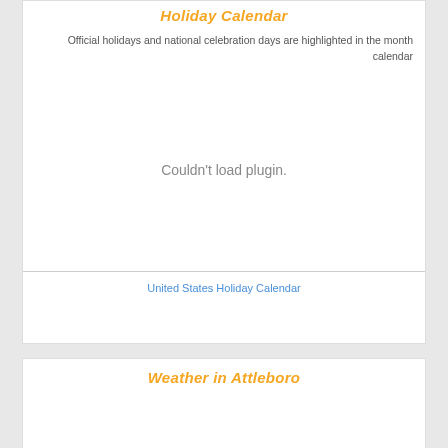Holiday Calendar
Official holidays and national celebration days are highlighted in the month calendar
[Figure (other): Couldn't load plugin. placeholder area for an embedded holiday calendar plugin]
United States Holiday Calendar
Weather in Attleboro